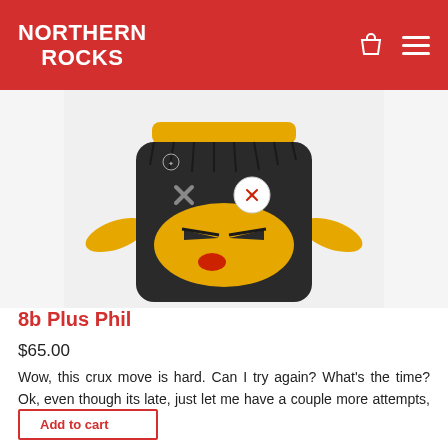NORTHERN ROCKS
[Figure (photo): A fuzzy monster-themed chalk bag with dark grey fur, yellow face mask, yellow arms, button eyes (one X-shaped, one round white with red X), and an angry expression. Yellow headband on top. Product by 8b Plus.]
8b Plus Phil
$65.00
Wow, this crux move is hard. Can I try again? What's the time? Ok, even though its late, just let me have a couple more attempts, then we head out.